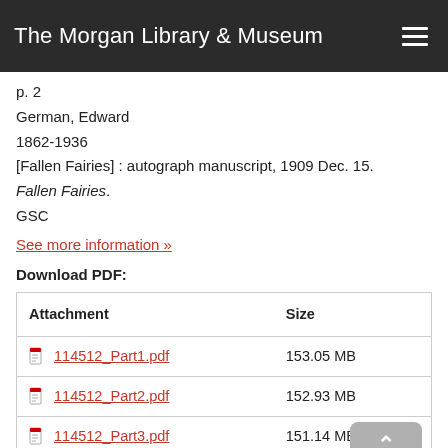The Morgan Library & Museum
p. 2
German, Edward
1862-1936
[Fallen Fairies] : autograph manuscript, 1909 Dec. 15.
Fallen Fairies.
GSC
See more information »
Download PDF:
| Attachment | Size |
| --- | --- |
| 114512_Part1.pdf | 153.05 MB |
| 114512_Part2.pdf | 152.93 MB |
| 114512_Part3.pdf | 151.14 MB |
| 114512_Part4.pdf | 154.55 MB |
| 114512_Part5.pdf | 137.45 MB |